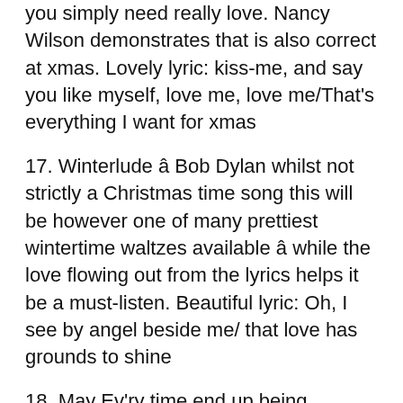you simply need really love. Nancy Wilson demonstrates that is also correct at xmas. Lovely lyric: kiss-me, and say you like myself, love me, love me/That's everything I want for xmas
17. Winterlude â Bob Dylan whilst not strictly a Christmas time song this will be however one of many prettiest wintertime waltzes available â while the love flowing out from the lyrics helps it be a must-listen. Beautiful lyric: Oh, I see by angel beside me/ that love has grounds to shine
18. May Ev'ry time end up being